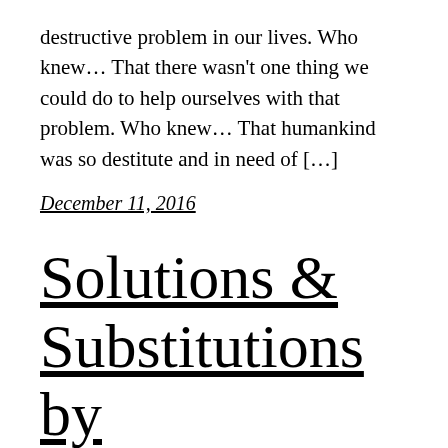destructive problem in our lives. Who knew… That there wasn't one thing we could do to help ourselves with that problem. Who knew… That humankind was so destitute and in need of […]
December 11, 2016
Solutions & Substitutions by